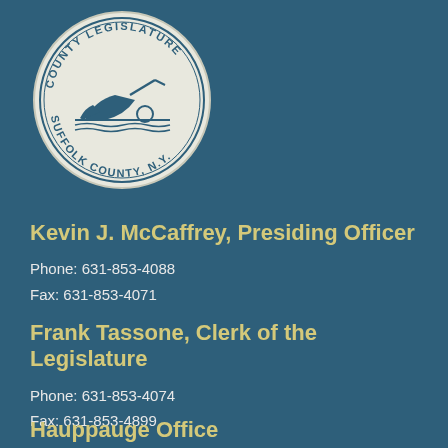[Figure (logo): Suffolk County Legislature circular seal/logo with text 'COUNTY LEGISLATURE SUFFOLK COUNTY, N.Y.' and a plow image in the center]
Kevin J. McCaffrey, Presiding Officer
Phone: 631-853-4088
Fax: 631-853-4071
Frank Tassone, Clerk of the Legislature
Phone: 631-853-4074
Fax: 631-853-4899
Hauppauge Office